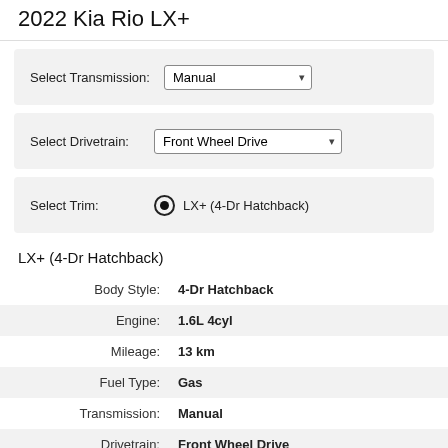2022 Kia Rio LX+
Select Transmission: Manual
Select Drivetrain: Front Wheel Drive
Select Trim: LX+ (4-Dr Hatchback)
LX+ (4-Dr Hatchback)
| Label | Value |
| --- | --- |
| Body Style: | 4-Dr Hatchback |
| Engine: | 1.6L 4cyl |
| Mileage: | 13 km |
| Fuel Type: | Gas |
| Transmission: | Manual |
| Drivetrain: | Front Wheel Drive |